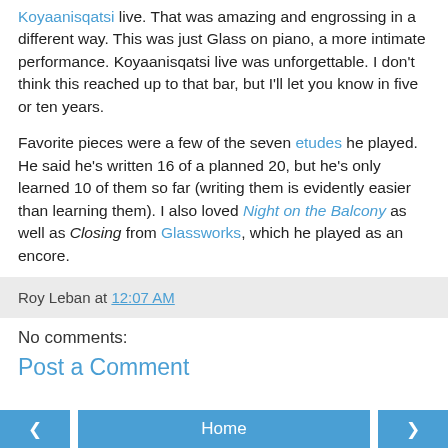Koyaanisqatsi live. That was amazing and engrossing in a different way. This was just Glass on piano, a more intimate performance. Koyaanisqatsi live was unforgettable. I don't think this reached up to that bar, but I'll let you know in five or ten years.
Favorite pieces were a few of the seven etudes he played. He said he's written 16 of a planned 20, but he's only learned 10 of them so far (writing them is evidently easier than learning them). I also loved Night on the Balcony as well as Closing from Glassworks, which he played as an encore.
Roy Leban at 12:07 AM
No comments:
Post a Comment
Home